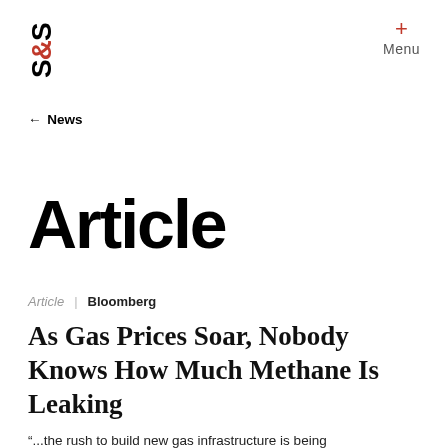S&S | Menu
← News
Article
Article | Bloomberg
As Gas Prices Soar, Nobody Knows How Much Methane Is Leaking
“...the rush to build new gas infrastructure is being